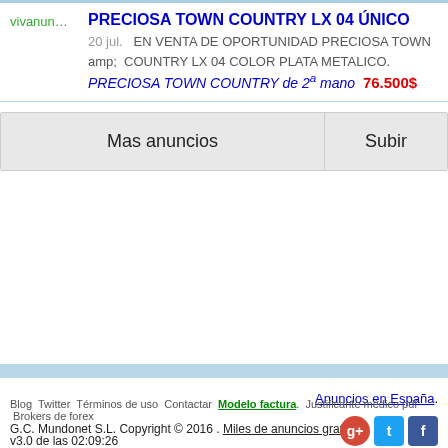PRECIOSA TOWN COUNTRY LX 04 ÚNICO
20 jul.  EN VENTA DE OPORTUNIDAD PRECIOSA TOWN amp; COUNTRY LX 04 COLOR PLATA METALICO. PRECIOSA TOWN COUNTRY de 2ª mano  76.500$
Mas anuncios
Subir
Anuncios en España.
Blog  Twitter  Términos de uso  Contactar  Modelo factura.  Justificante médico pdf  Brokers de forex
G.C. Mundonet S.L. Copyright © 2016 .  Miles de anuncios gratis
v3.0 de las 02:09:26